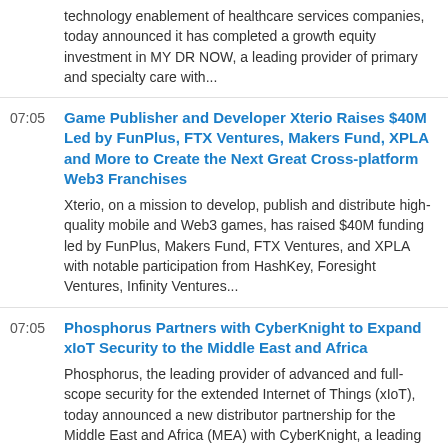technology enablement of healthcare services companies, today announced it has completed a growth equity investment in MY DR NOW, a leading provider of primary and specialty care with...
Game Publisher and Developer Xterio Raises $40M Led by FunPlus, FTX Ventures, Makers Fund, XPLA and More to Create the Next Great Cross-platform Web3 Franchises
Xterio, on a mission to develop, publish and distribute high-quality mobile and Web3 games, has raised $40M funding led by FunPlus, Makers Fund, FTX Ventures, and XPLA with notable participation from HashKey, Foresight Ventures, Infinity Ventures...
Phosphorus Partners with CyberKnight to Expand xIoT Security to the Middle East and Africa
Phosphorus, the leading provider of advanced and full-scope security for the extended Internet of Things (xIoT), today announced a new distributor partnership for the Middle East and Africa (MEA) with CyberKnight, a leading cybersecurity value-added...
BizCap® Secures $20 Million Credit Facility for Schweizer RSG, LLC